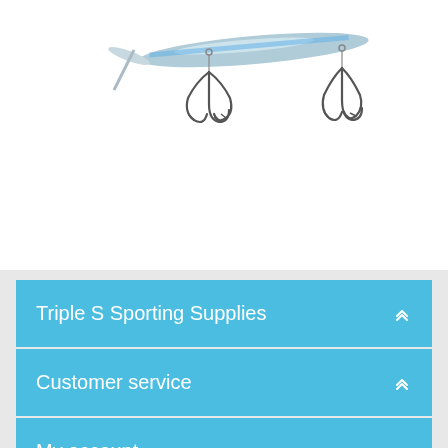[Figure (photo): A fishing lure with a silver/blue body and two sets of triple hooks hanging from the lure body, photographed on a white background. The lure is shown from a slightly angled top view.]
Triple S Sporting Supplies
Customer service
My account